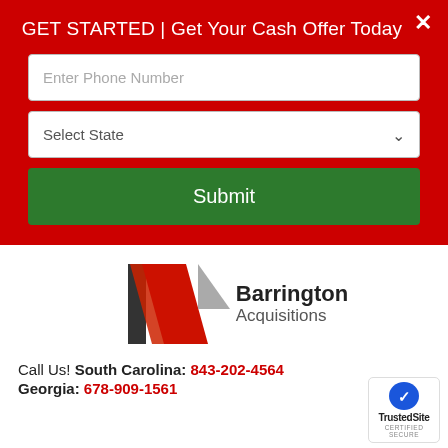GET STARTED | Get Your Cash Offer Today
[Figure (screenshot): Web form modal with phone number input, state selector dropdown, and green submit button on red background]
[Figure (logo): Barrington Acquisitions logo with geometric house/slash icon in red, black, and gray]
Call Us! South Carolina: 843-202-4564
Georgia: 678-909-1561
[Figure (logo): TrustedSite certified secure badge with blue shield and checkmark]